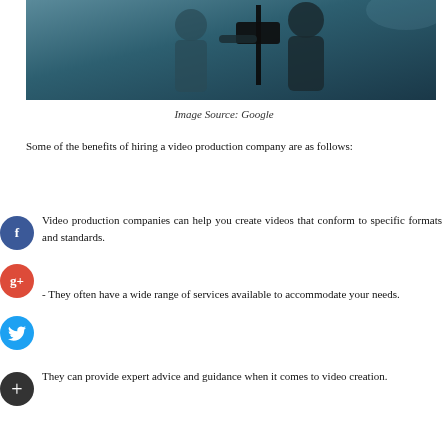[Figure (photo): Two people working with a video camera in a studio or filming environment, dark/teal toned image]
Image Source: Google
Some of the benefits of hiring a video production company are as follows:
Video production companies can help you create videos that conform to specific formats and standards.
They often have a wide range of services available to accommodate your needs.
They can provide expert advice and guidance when it comes to video creation.